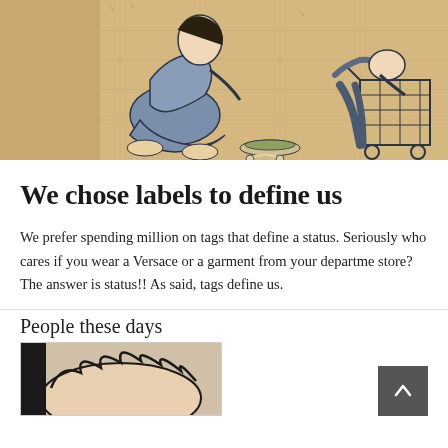[Figure (illustration): A sketch illustration on tan/parchment background showing two figures: one person sitting cross-legged on the ground near a plate of food, another person looking through a waste bin/trash can. The scene depicts poverty and inequality themes with a sketchy, hand-drawn style.]
We chose labels to define us
We prefer spending million on tags that define a status. Seriously who cares if you wear a Versace or a garment from your department store? The answer is status!! As said, tags define us.
People these days
[Figure (illustration): Partial illustration visible at bottom of page, showing what appears to be a person's head/hair in a black and white/muted color sketch style.]